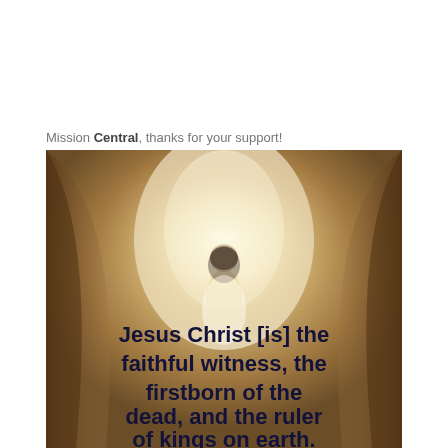Mission Central, thanks for your support!
[Figure (illustration): A person viewed from behind walking toward a bright light through a tunnel or cave, with warm sandy/golden tones on the sides. Bold dark navy text overlaid reads: 'Jesus Christ [is] the faithful witness, the firstborn of the dead, and the ruler of kings on earth.']